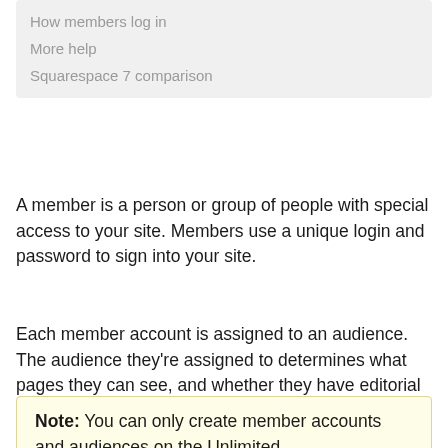How members log in
More help
Squarespace 7 comparison
A member is a person or group of people with special access to your site. Members use a unique login and password to sign into your site.
Each member account is assigned to an audience. The audience they're assigned to determines what pages they can see, and whether they have editorial privileges.
Note: You can only create member accounts and audiences on the Unlimited